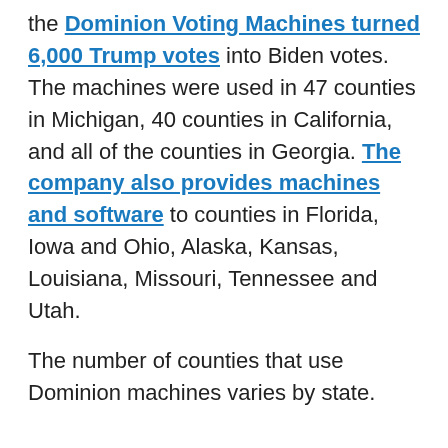the Dominion Voting Machines turned 6,000 Trump votes into Biden votes. The machines were used in 47 counties in Michigan, 40 counties in California, and all of the counties in Georgia. The company also provides machines and software to counties in Florida, Iowa and Ohio, Alaska, Kansas, Louisiana, Missouri, Tennessee and Utah.
The number of counties that use Dominion machines varies by state.
How to pray? That any and all illegalities in these counties will be revealed and exposed and that the